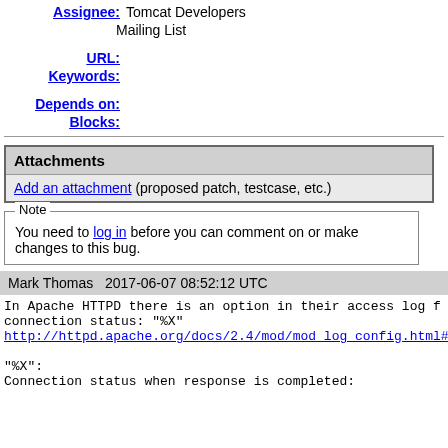Assignee: Tomcat Developers Mailing List
URL:
Keywords:
Depends on:
Blocks:
| Attachments |
| --- |
| Add an attachment (proposed patch, testcase, etc.) |
Note
You need to log in before you can comment on or make changes to this bug.
Mark Thomas   2017-06-07 08:52:12 UTC
In Apache HTTPD there is an option in their access log f connection status: "%X"
http://httpd.apache.org/docs/2.4/mod/mod_log_config.html#form
"%X":
Connection status when response is completed: